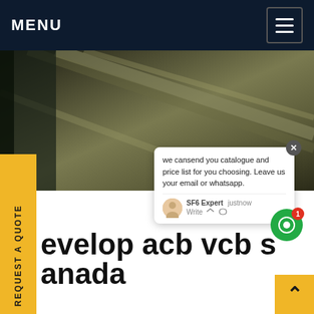MENU
[Figure (photo): Industrial equipment photo showing metal rails or bus bars in a substation or factory setting, partially visible with 'ina' text overlay in orange/gold.]
evelop acb vcb s anada
[Figure (screenshot): Chat popup widget showing message: 'we can send you catalogue and price list for you choosing. Leave us your email or whatsapp.' with SF6 Expert agent avatar and just now timestamp, Write input area below.]
2/2019A brief term of ACB-air circuit breaker, B – Vacuum circuit breaker and insulating gas for phur hexa fluoride. Due to environmental and price concerns over insulating oil spills, most new breakers use Sulfr hexafluoride gas to quench the arc.Get price